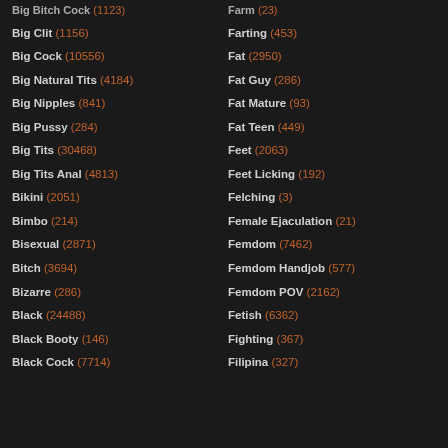Big Clit (1156)
Big Cock (10556)
Big Natural Tits (4184)
Big Nipples (841)
Big Pussy (284)
Big Tits (30468)
Big Tits Anal (4813)
Bikini (2051)
Bimbo (214)
Bisexual (2871)
Bitch (3694)
Bizarre (286)
Black (24488)
Black Booty (146)
Black Cock (7714)
Farting (453)
Fat (2950)
Fat Guy (286)
Fat Mature (93)
Fat Teen (449)
Feet (2063)
Feet Licking (192)
Felching (3)
Female Ejaculation (21)
Femdom (7462)
Femdom Handjob (577)
Femdom POV (2162)
Fetish (6362)
Fighting (367)
Filipina (327)